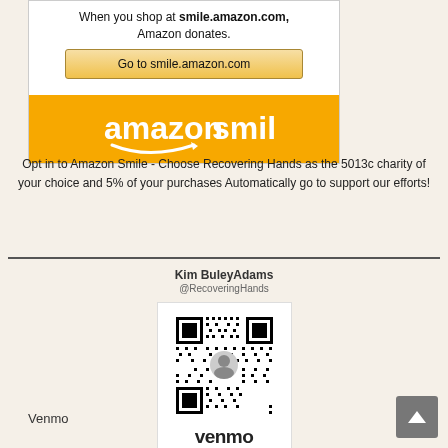[Figure (infographic): Amazon Smile promotional box with button 'Go to smile.amazon.com' and orange Amazon Smile logo bar]
Opt in to Amazon Smile - Choose Recovering Hands as the 5013c charity of your choice and 5% of your purchases Automatically go to support our efforts!
[Figure (infographic): Venmo QR code card for Kim BuleyAdams @RecoveringHands with Venmo logo]
Venmo